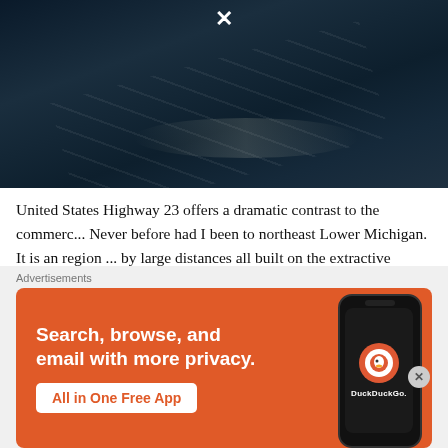[Figure (photo): Dark aerial or overhead photograph of water surface with light wave reflections and streaks of light on dark water, with a white X close button at the top center]
United States Highway 23 offers a dramatic contrast to the commerc... Never before had I been to northeast Lower Michigan. It is an region ... by large distances all built on the extractive industries. From Mackin... North Central State Trail follows an old railroad grade paralleling Hig... crushed gravel of the state trail was nice, I found I preferred the fee... glimpse of Lake Huron that riding on the road afforded me. Traff...
[Figure (screenshot): DuckDuckGo advertisement banner with orange background. Text reads 'Search, browse, and email with more privacy. All in One Free App' with a DuckDuckGo branded smartphone mockup on the right side showing the DuckDuckGo logo.]